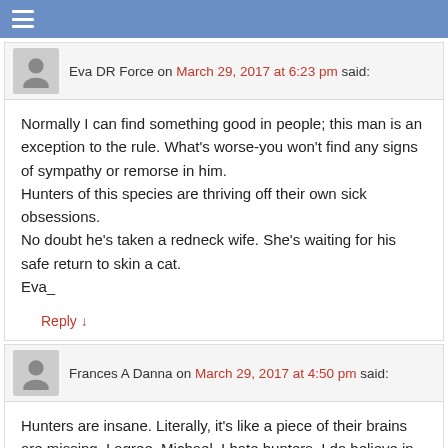≡
Eva DR Force on March 29, 2017 at 6:23 pm said:
Normally I can find something good in people; this man is an exception to the rule. What's worse-you won't find any signs of sympathy or remorse in him.
Hunters of this species are thriving off their own sick obsessions.
No doubt he's taken a redneck wife. She's waiting for his safe return to skin a cat.
Eva_
Reply ↓
Frances A Danna on March 29, 2017 at 4:50 pm said:
Hunters are insane. Literally, it's like a piece of their brains are missing. I agree, Michael. I hate hunters. I do believe in karma. Maybe after they die, or in their next life, they will become the hunted. 😱😮